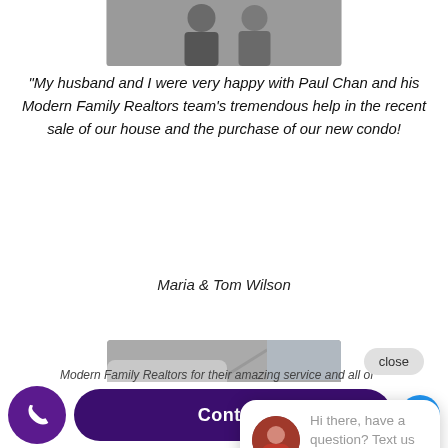[Figure (photo): Partial photo of two people at the top of the page, cropped]
“My husband and I were very happy with Paul Chan and his Modern Family Realtors team’s tremendous help in the recent sale of our house and the purchase of our new condo!
Maria & Tom Wilson
[Figure (photo): Partial photo showing hands in mid section of page]
close
[Figure (photo): Avatar photo of a woman with dark hair wearing red]
Hi there, have a question? Text us here.
Contact
Modern Family Realtors for their amazing service and all of